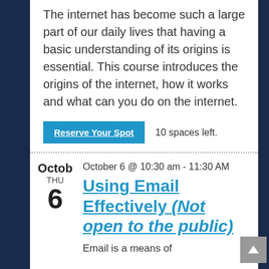The internet has become such a large part of our daily lives that having a basic understanding of its origins is essential. This course introduces the origins of the internet, how it works and what can you do on the internet.
Reserve Your Spot   10 spaces left.
Octob
THU
6
October 6 @ 10:30 am - 11:30 AM
Using Email Effectively (Not open to the public)
Email is a means of